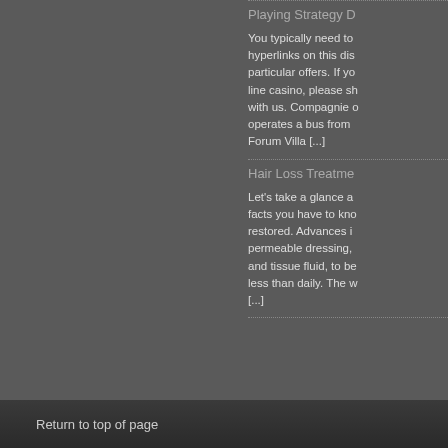Playing Strategy D
You typically need to hyperlinks on this dis particular offers. If yo line casino, please sh with us. Compagnie o operates a bus from Forum Villa [...]
Hair Loss Treatme
Let's take a glance a facts you have to kno restored. Advances i permeable dressing, and tissue fluid, to be less than daily. The w [...]
Return to top of page